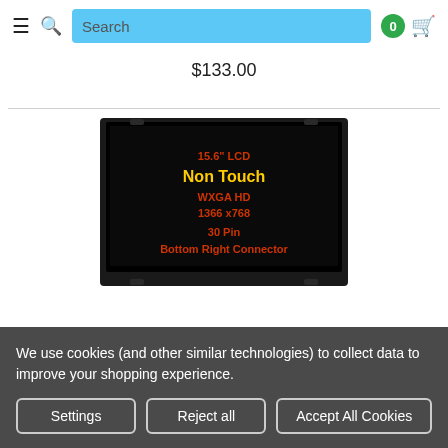Search  0 (cart)
$133.00
[Figure (photo): LCD screen product image showing a black laptop display panel with text: 15.6" LCD Non Touch WXGA HD 1366 x768 30 Pin Bottom Right Connector]
We use cookies (and other similar technologies) to collect data to improve your shopping experience.
Settings   Reject all   Accept All Cookies